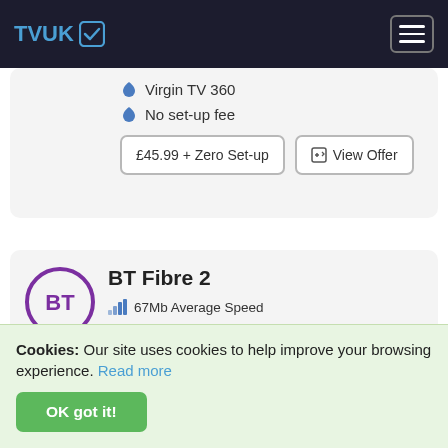TVUK
Virgin TV 360
No set-up fee
£45.99 + Zero Set-up
View Offer
BT Fibre 2
67Mb Average Speed
New customers only
Stay Fast Guarantee – get the speeds promised or money back
£100 worth security, anti-virus protection & parental controls
£110 Reward Card
Cookies: Our site uses cookies to help improve your browsing experience. Read more  OK got it!